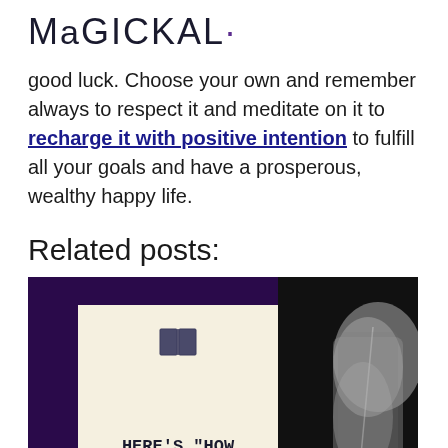Magickal·
good luck. Choose your own and remember always to respect it and meditate on it to recharge it with positive intention to fulfill all your goals and have a prosperous, wealthy happy life.
Related posts:
[Figure (photo): A blog post card thumbnail showing a book icon and the title HERE'S "HOW TO MAKE A MOJO BAG FOR" on a cream background, placed over a dark purple background, alongside a black and white photo of a hand sewing fabric with a needle.]